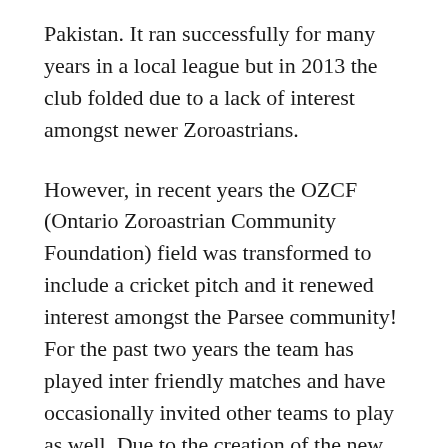Pakistan. It ran successfully for many years in a local league but in 2013 the club folded due to a lack of interest amongst newer Zoroastrians.
However, in recent years the OZCF (Ontario Zoroastrian Community Foundation) field was transformed to include a cricket pitch and it renewed interest amongst the Parsee community! For the past two years the team has played inter friendly matches and have occasionally invited other teams to play as well. Due to the creation of the new agiary, the OZCF ground is not available for the upcoming season. The club has decided to join Mississauga Cricket League, and would like to introduce and include more youngsters to the game in a healthy community atmosphere with proper coaching by ex national team players. So if you have kids that want to learn sports and have fun in an all Parsee community setting or if you want to join yourself please contact